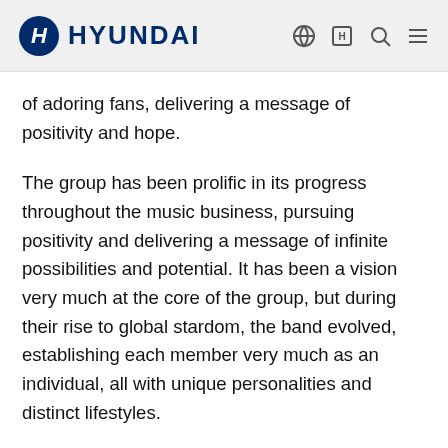HYUNDAI
of adoring fans, delivering a message of positivity and hope.
The group has been prolific in its progress throughout the music business, pursuing positivity and delivering a message of infinite possibilities and potential. It has been a vision very much at the core of the group, but during their rise to global stardom, the band evolved, establishing each member very much as an individual, all with unique personalities and distinct lifestyles.
This appreciation for the power of